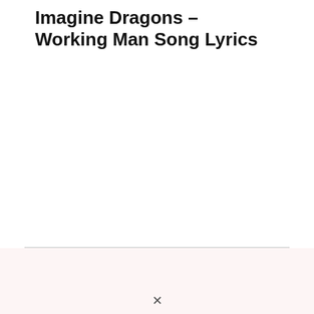Imagine Dragons – Working Man Song Lyrics